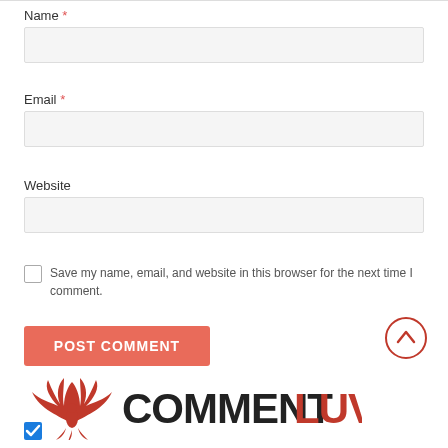Name *
[Figure (screenshot): Text input field for Name (empty, light gray background)]
Email *
[Figure (screenshot): Text input field for Email (empty, light gray background)]
Website
[Figure (screenshot): Text input field for Website (empty, light gray background)]
Save my name, email, and website in this browser for the next time I comment.
POST COMMENT
[Figure (logo): CommentLuv logo with red phoenix bird wings and COMMENTLUV text (COMMENT in black, LUV in red)]
[Figure (other): Checked blue checkbox at bottom left]
[Figure (other): Scroll to top circle button with chevron up arrow, top right]